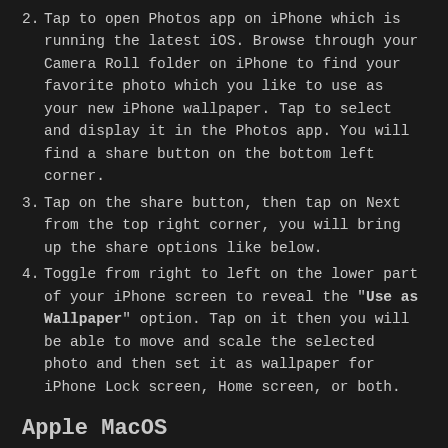2. Tap to open Photos app on iPhone which is running the latest iOS. Browse through your Camera Roll folder on iPhone to find your favorite photo which you like to use as your new iPhone wallpaper. Tap to select and display it in the Photos app. You will find a share button on the bottom left corner.
3. Tap on the share button, then tap on Next from the top right corner, you will bring up the share options like below.
4. Toggle from right to left on the lower part of your iPhone screen to reveal the "Use as Wallpaper" option. Tap on it then you will be able to move and scale the selected photo and then set it as wallpaper for iPhone Lock screen, Home screen, or both.
Apple MacOS
1. From a Finder window or your desktop, locate the image file that you want to use.